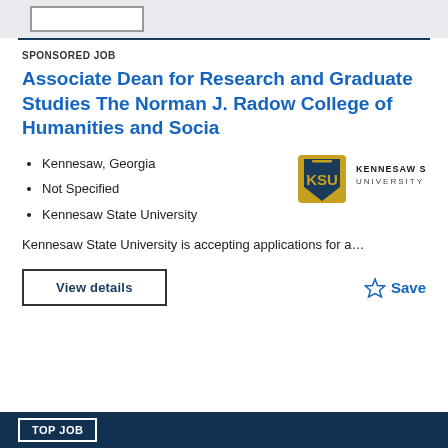SPONSORED JOB
Associate Dean for Research and Graduate Studies The Norman J. Radow College of Humanities and Socia
Kennesaw, Georgia
Not Specified
Kennesaw State University
[Figure (logo): Kennesaw State University logo with KSU monogram and text KENNESAW STATE UNIVERSITY]
Kennesaw State University is accepting applications for a...
View details
Save
TOP JOB